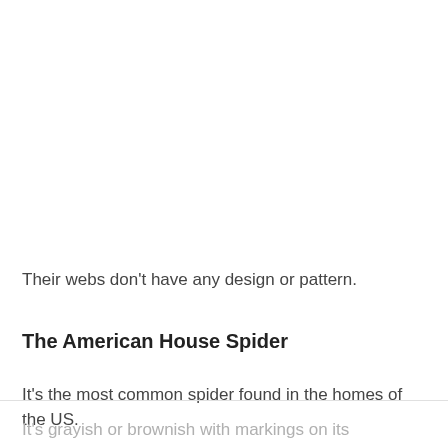Their webs don't have any design or pattern.
The American House Spider
It's the most common spider found in the homes of the US.
It's grayish or brownish with markings on its abdomen...